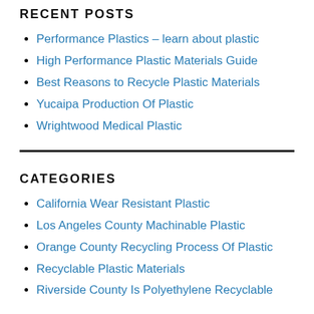RECENT POSTS
Performance Plastics – learn about plastic
High Performance Plastic Materials Guide
Best Reasons to Recycle Plastic Materials
Yucaipa Production Of Plastic
Wrightwood Medical Plastic
CATEGORIES
California Wear Resistant Plastic
Los Angeles County Machinable Plastic
Orange County Recycling Process Of Plastic
Recyclable Plastic Materials
Riverside County Is Polyethylene Recyclable